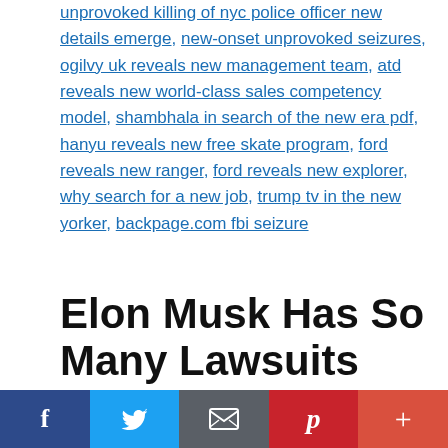unprovoked killing of nyc police officer new details emerge, new-onset unprovoked seizures, ogilvy uk reveals new management team, atd reveals new world-class sales competency model, shambhala in search of the new era pdf, hanyu reveals new free skate program, ford reveals new ranger, ford reveals new explorer, why search for a new job, trump tv in the new yorker, backpage.com fbi seizure
Elon Musk Has So Many Lawsuits They’re Teaching a Class in Law School
September 2, 2022 by nymag.com — Leave a Comment